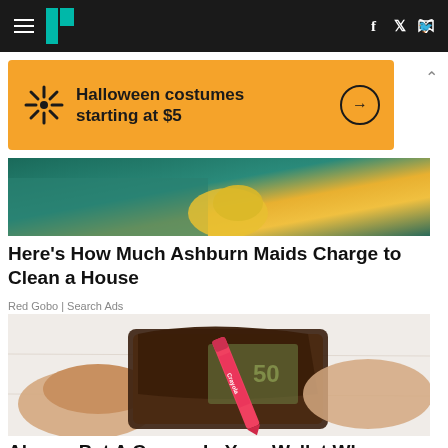HuffPost navigation bar with hamburger menu, logo, Facebook and Twitter icons
[Figure (illustration): Walmart advertisement banner: orange background with Walmart starburst logo, text 'Halloween costumes starting at $5' and arrow circle button]
[Figure (photo): Partial photo of person in green top wearing yellow rubber gloves, cleaning context]
Here's How Much Ashburn Maids Charge to Clean a House
Red Gobo | Search Ads
[Figure (photo): Photo of hands holding open a brown leather wallet containing a pink Crayola crayon and euro banknotes on a white wooden surface]
Always Put A Crayon In Your Wallet When Traveling